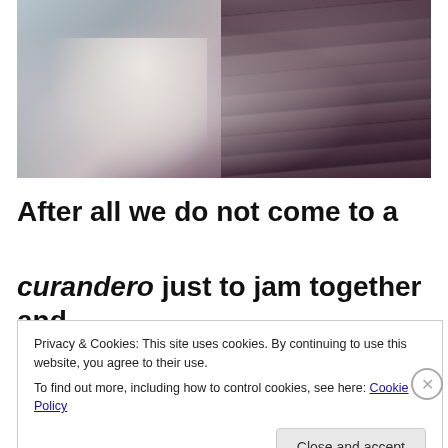[Figure (photo): A person in a white dress sitting on a wooden dock or pier, leaning over the edge. Muted, desaturated tones with blue-grey sky/water background on the left and dark wooden planks on the right.]
After all we do not come to a
curandero just to jam together and
Privacy & Cookies: This site uses cookies. By continuing to use this website, you agree to their use.
To find out more, including how to control cookies, see here: Cookie Policy
Close and accept